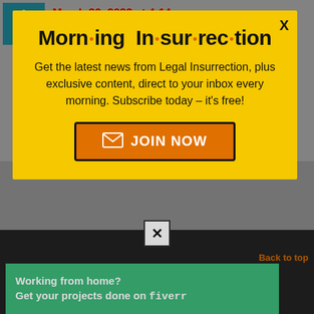March 20, 2022 at 4:14 pm
It would still be best to have domestic production of crucial item, Ukraine will remain vulnerable, even
[Figure (screenshot): Modal popup with yellow background for Morning Insurrection newsletter signup]
X
Morn·ing In·sur·rec·tion
Get the latest news from Legal Insurrection, plus exclusive content, direct to your inbox every morning. Subscribe today – it's free!
JOIN NOW
[Figure (screenshot): Close X button (white square with X)]
Back to top
[Figure (infographic): Fiverr advertisement banner: Working from home? Get your projects done on fiverr]